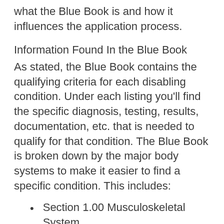what the Blue Book is and how it influences the application process.
Information Found In the Blue Book
As stated, the Blue Book contains the qualifying criteria for each disabling condition. Under each listing you'll find the specific diagnosis, testing, results, documentation, etc. that is needed to qualify for that condition. The Blue Book is broken down by the major body systems to make it easier to find a specific condition. This includes:
Section 1.00 Musculoskeletal System
Section 2.00 Special Sense and Speech
Section 3.00 Respiratory Disorders
Section 4.00 Cardiovascular System